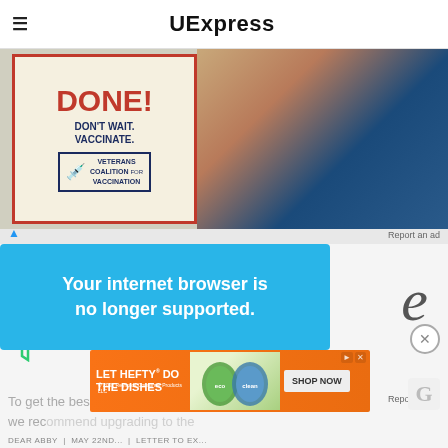UExpress
[Figure (illustration): Veterans Coalition for Vaccination advertisement showing a muscular arm with a bandage, text reading 'DONE! DON'T WAIT. VACCINATE. VETERANS COALITION FOR VACCINATION']
Report an ad
LIFE
Your internet browser is no longer supported.
To get the best experience on our site, we rec... latest v...
Report an ad
[Figure (illustration): Advertisement for Hefty dish soap: 'LET HEFTY DO THE DISHES' with product images and 'SHOP NOW' button. Copyright 2022 Reynolds Consumer Products LLC]
DEAR ABBY | MAY 22ND... | LETTER TO EX...